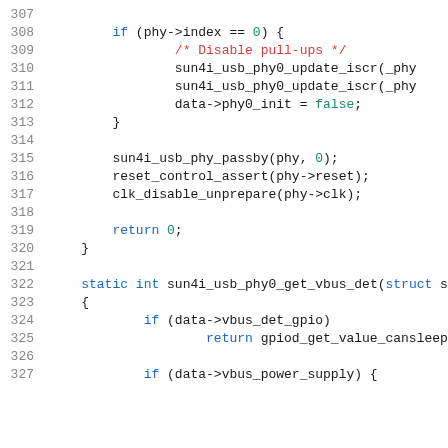[Figure (screenshot): Source code listing lines 307-327 of a C file showing USB PHY driver code with syntax highlighting. Line numbers in gray on left, keywords in blue, comments in red, numeric/boolean literals in green.]